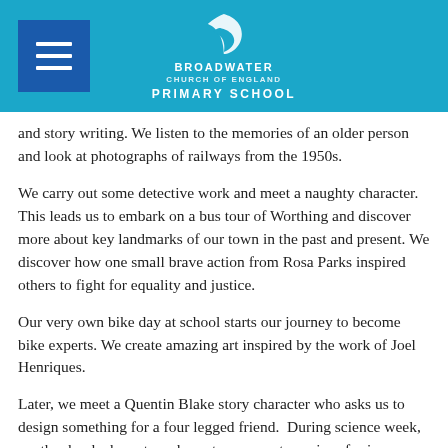Broadwater Primary School
and story writing. We listen to the memories of an older person and look at photographs of railways from the 1950s.
We carry out some detective work and meet a naughty character. This leads us to embark on a bus tour of Worthing and discover more about key landmarks of our town in the past and present. We discover how one small brave action from Rosa Parks inspired others to fight for equality and justice.
Our very own bike day at school starts our journey to become bike experts. We create amazing art inspired by the work of Joel Henriques.
Later, we meet a Quentin Blake story character who asks us to design something for a four legged friend.  During science week, another book character asks us to carry out a series of science investigations.